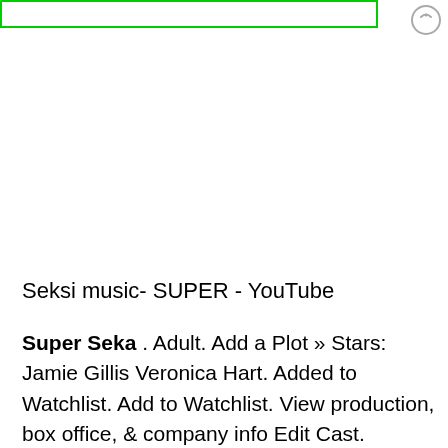[Figure (screenshot): Top portion of a screenshot showing a green-bordered image area and a circular icon on the right]
Seksi music- SUPER - YouTube
Super Seka . Adult. Add a Plot » Stars: Jamie Gillis Veronica Hart. Added to Watchlist. Add to Watchlist. View production, box office, & company info Edit Cast. Credited cast: Jamie Gillis Veronica Hart See full cast » View production, box office, & company info Edit Storyline.